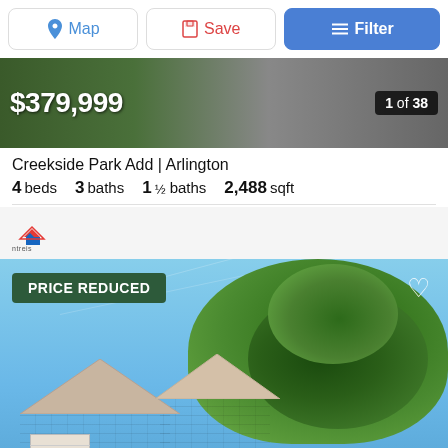[Figure (screenshot): Toolbar with Map, Save, and Filter buttons]
[Figure (photo): Property listing image showing price $379,999 and photo count 1 of 38]
Creekside Park Add | Arlington
4 beds  3 baths  1 ½ baths  2,488 sqft
[Figure (logo): NTREIS logo]
[Figure (photo): Second listing photo showing house exterior with large tree, blue sky, PRICE REDUCED badge, heart icon]